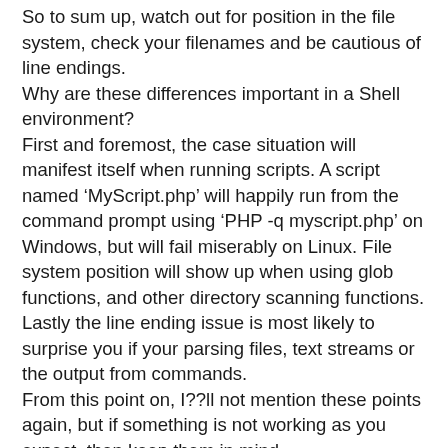So to sum up, watch out for position in the file system, check your filenames and be cautious of line endings.
Why are these differences important in a Shell environment?
First and foremost, the case situation will manifest itself when running scripts. A script named 'MyScript.php' will happily run from the command prompt using 'PHP -q myscript.php' on Windows, but will fail miserably on Linux. File system position will show up when using glob functions, and other directory scanning functions. Lastly the line ending issue is most likely to surprise you if your parsing files, text streams or the output from commands.
From this point on, I??ll not mention these points again, but if something is not working as you expect, then keep them in mind.
So what neat things can we do with PHP in the shell?